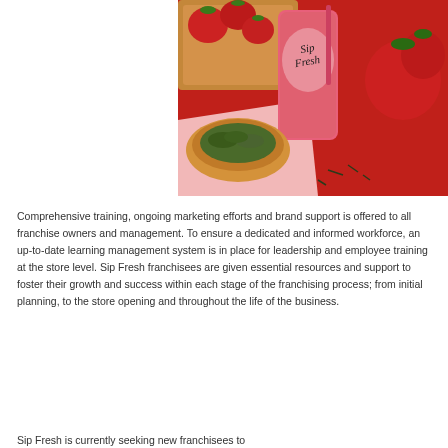[Figure (photo): Photo of Sip Fresh branded drink cup with strawberries and loose-leaf green tea in a wooden bowl on a red background]
Comprehensive training, ongoing marketing efforts and brand support is offered to all franchise owners and management. To ensure a dedicated and informed workforce, an up-to-date learning management system is in place for leadership and employee training at the store level. Sip Fresh franchisees are given essential resources and support to foster their growth and success within each stage of the franchising process; from initial planning, to the store opening and throughout the life of the business.
Sip Fresh is currently seeking new franchisees to